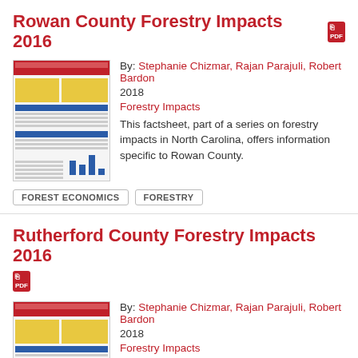Rowan County Forestry Impacts 2016
By: Stephanie Chizmar, Rajan Parajuli, Robert Bardon
2018
Forestry Impacts
This factsheet, part of a series on forestry impacts in North Carolina, offers information specific to Rowan County.
FOREST ECONOMICS
FORESTRY
Rutherford County Forestry Impacts 2016
By: Stephanie Chizmar, Rajan Parajuli, Robert Bardon
2018
Forestry Impacts
This factsheet, part of a series on forestry impacts in North Carolina, offers information specific to